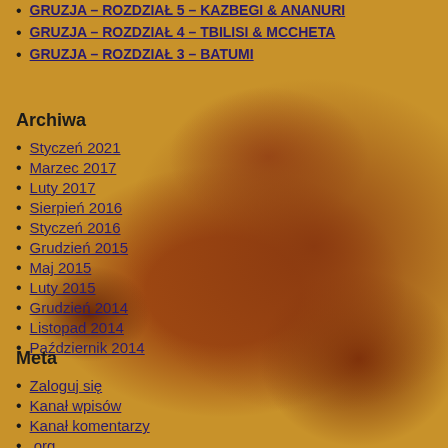GRUZJA – ROZDZIAŁ 5 – KAZBEGI & ANANURI
GRUZJA – ROZDZIAŁ 4 – TBILISI & MCCHETA
GRUZJA – ROZDZIAŁ 3 – BATUMI
Archiwa
Styczeń 2021
Marzec 2017
Luty 2017
Sierpień 2016
Styczeń 2016
Grudzień 2015
Maj 2015
Luty 2015
Grudzień 2014
Listopad 2014
Październik 2014
Meta
Zaloguj się
Kanał wpisów
Kanał komentarzy
.org